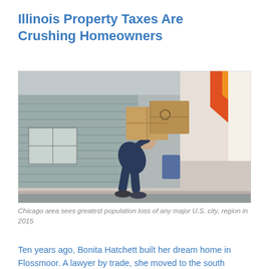Illinois Property Taxes Are Crushing Homeowners
[Figure (photo): A person carrying large cardboard boxes on their back, bent forward under the weight, standing on the edge of a moving truck ramp. A house with horizontal siding and a window is visible in the background, along with a colorful truck and urban street scene.]
Chicago area sees greatest population loss of any major U.S. city, region in 2015
Ten years ago, Bonita Hatchett built her dream home in Flossmoor. A lawyer by trade, she moved to the south